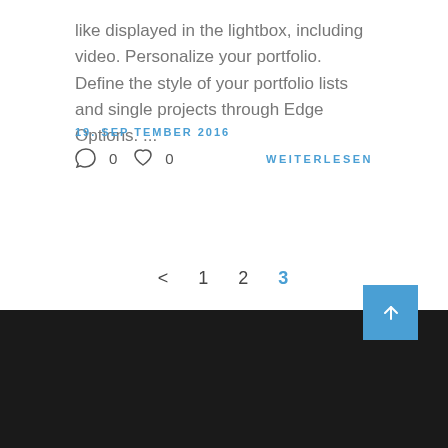like displayed in the lightbox, including video. Personalize your portfolio. Define the style of your portfolio lists and single projects through Edge Options. ...
19. SEPTEMBER 2016
0  0
WEITERLESEN
< 1 2 3